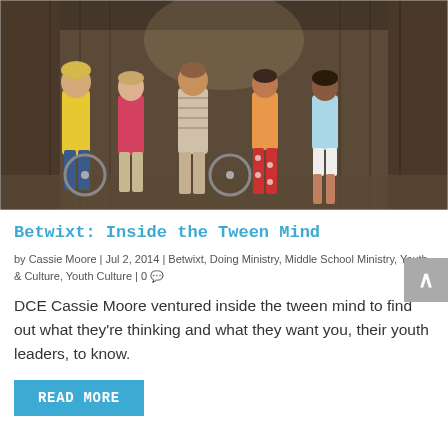[Figure (photo): Five teenagers (tweens) standing together inside a covered wooden barn, two with bicycles. From left: a boy in yellow shirt leaning on a bike, a girl in pink shirt, a boy in striped shirt, a girl in orange top with floral pants, a girl in light blue top and white shorts.]
Betwixt: Inside the Tween Mind
by Cassie Moore | Jul 2, 2014 | Betwixt, Doing Ministry, Middle School Ministry, Youth & Culture, Youth Culture | 0
DCE Cassie Moore ventured inside the tween mind to find out what they're thinking and what they want you, their youth leaders, to know.
READ MORE